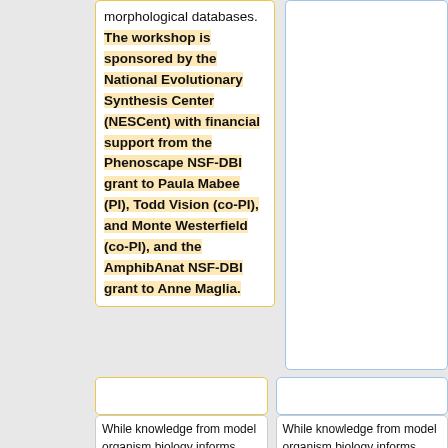morphological databases. The workshop is sponsored by the National Evolutionary Synthesis Center (NESCent) with financial support from the Phenoscape NSF-DBI grant to Paula Mabee (PI), Todd Vision (co-PI), and Monte Westerfield (co-PI), and the AmphibAnat NSF-DBI grant to Anne Maglia.
While knowledge from model organism biology informs
While knowledge from model organism biology informs